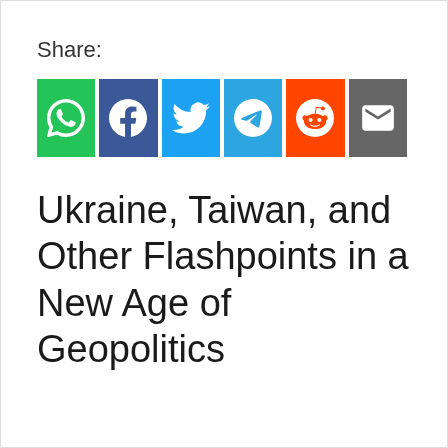Share:
[Figure (infographic): Row of six social media share buttons: WhatsApp (green), Facebook (dark blue), Twitter (light blue), Telegram (blue), Reddit (orange), Email (gray)]
Ukraine, Taiwan, and Other Flashpoints in a New Age of Geopolitics